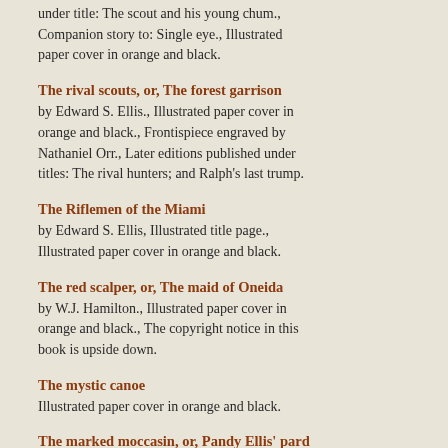under title: The scout and his young chum., Companion story to: Single eye., Illustrated paper cover in orange and black.
The rival scouts, or, The forest garrison
by Edward S. Ellis., Illustrated paper cover in orange and black., Frontispiece engraved by Nathaniel Orr., Later editions published under titles: The rival hunters; and Ralph's last trump.
The Riflemen of the Miami
by Edward S. Ellis, Illustrated title page., Illustrated paper cover in orange and black.
The red scalper, or, The maid of Oneida
by W.J. Hamilton., Illustrated paper cover in orange and black., The copyright notice in this book is upside down.
The mystic canoe
Illustrated paper cover in orange and black.
The marked moccasin, or, Pandy Ellis' pard